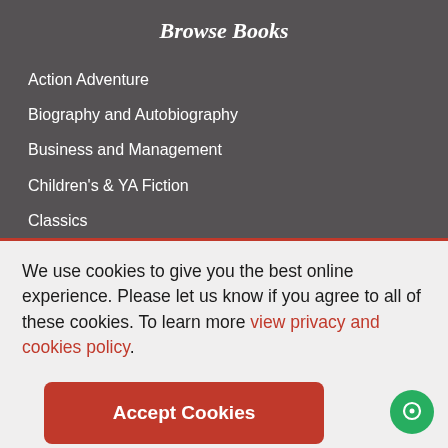Browse Books
Action Adventure
Biography and Autobiography
Business and Management
Children's & YA Fiction
Classics
We use cookies to give you the best online experience. Please let us know if you agree to all of these cookies. To learn more view privacy and cookies policy.
Accept Cookies